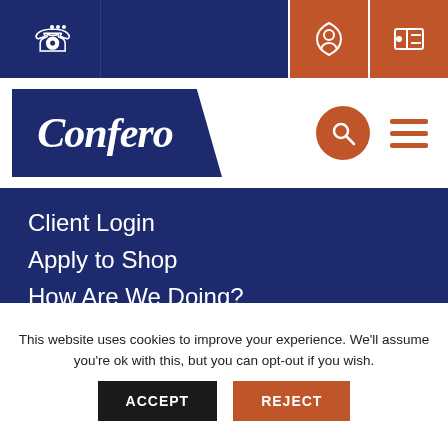[Figure (screenshot): Top navigation bar with phone icon on left and two orange icons on right on dark navy background]
[Figure (logo): Confero logo in italic white serif text on navy blue parallelogram shape]
Client Login
Apply to Shop
How Are We Doing?
Services
Telephone Mystery Shopping
On Site & Online Mystery Shopping
This website uses cookies to improve your experience. We'll assume you're ok with this, but you can opt-out if you wish.
ACCEPT
REJECT